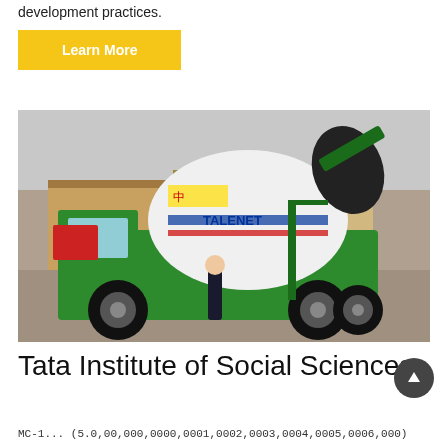development practices.
Learn More
[Figure (photo): A large green self-loading concrete mixer truck branded TALENET, photographed outdoors at a factory/warehouse site. A person stands in front of the truck for scale.]
Tata Institute of Social Sciences
MC-1... (5.0,00,000,0000,0001,0002,0003,0004,0005,0006,000)